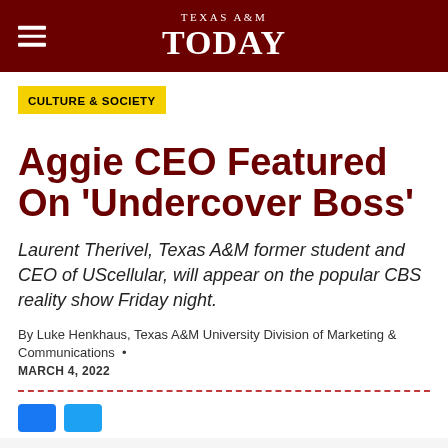TEXAS A&M TODAY
CULTURE & SOCIETY
Aggie CEO Featured On 'Undercover Boss'
Laurent Therivel, Texas A&M former student and CEO of UScellular, will appear on the popular CBS reality show Friday night.
By Luke Henkhaus, Texas A&M University Division of Marketing & Communications • MARCH 4, 2022